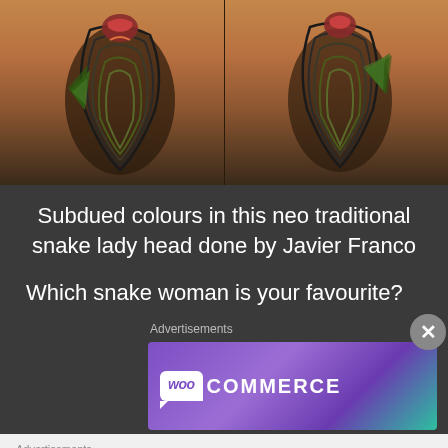[Figure (photo): Two close-up photos of legs with neo traditional snake lady head tattoos showing subdued earthy colors, side by side]
Subdued colours in this neo traditional snake lady head done by Javier Franco
Which snake woman is your favourite?
Advertisements
[Figure (logo): WooCommerce advertisement banner with purple gradient background and WooCommerce logo]
Advertisements
[Figure (photo): Seamless food delivery advertisement with pizza image, seamless red logo, and ORDER NOW button]